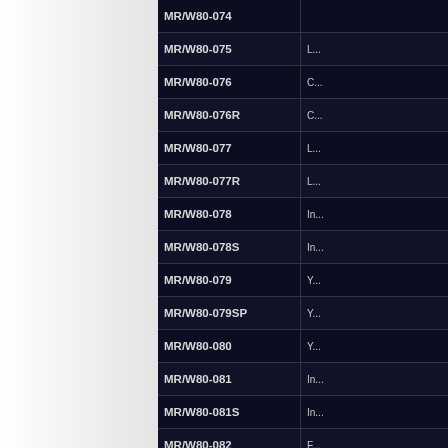| Code | Description |
| --- | --- |
| MR/W80-074 |  |
| MR/W80-075 | L... |
| MR/W80-076 | C... |
| MR/W80-076R | C... |
| MR/W80-077 | L... |
| MR/W80-077R | L... |
| MR/W80-078 | In... |
| MR/W80-078S | In... |
| MR/W80-079 | Y... |
| MR/W80-079SP | Y... |
| MR/W80-080 | Y... |
| MR/W80-081 | In... |
| MR/W80-081S | In... |
| MR/W80-082 | F... |
| MR/W80-082S | F... |
| MR/W80-083 | Y... |